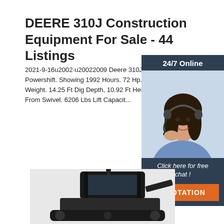DEERE 310J Construction Equipment For Sale - 44 Listings
2021-9-16u2002·u20022009 Deere 310J Backhoe Powershift. Showing 1992 Hours. 72 Hp. 16140 Operating Weight. 14.25 Ft Dig Depth, 10.92 Ft Height, 17.83 Ft Reach From Swivel. 6206 Lbs Lift Capacit...
Get Price
[Figure (photo): Customer service representative with headset, 24/7 Online chat widget with 'Click here for free chat!' and QUOTATION button]
[Figure (photo): Deere 310J construction equipment / backhoe loader, partial view from top]